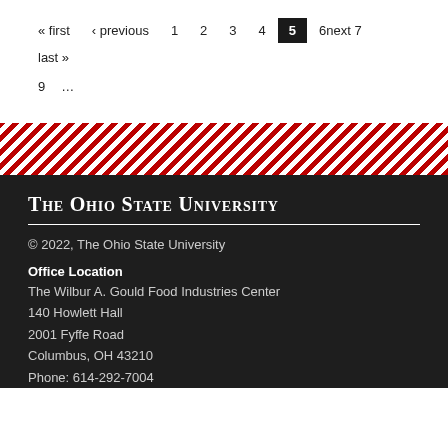« first ‹ previous 1 2 3 4 5 6next 7 last » 9 …
[Figure (other): Diagonal red and white stripe banner divider]
The Ohio State University
© 2022, The Ohio State University
Office Location
The Wilbur A. Gould Food Industries Center
140 Howlett Hall
2001 Fyffe Road
Columbus, OH 43210
Phone: 614-292-7004